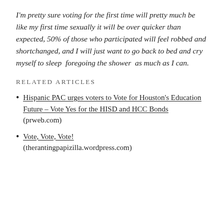I'm pretty sure voting for the first time will pretty much be like my first time sexually it will be over quicker than expected, 50% of those who participated will feel robbed and shortchanged, and I will just want to go back to bed and cry myself to sleep  foregoing the shower  as much as I can.
RELATED ARTICLES
Hispanic PAC urges voters to Vote for Houston's Education Future – Vote Yes for the HISD and HCC Bonds (prweb.com)
Vote, Vote, Vote! (therantingpapizilla.wordpress.com)